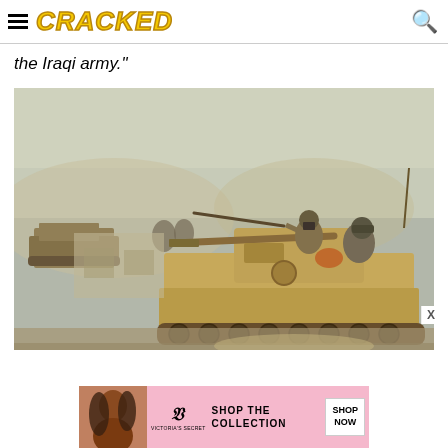CRACKED
the Iraqi army."
[Figure (photo): Military tanks moving through a dusty street scene. Soldiers with rifles are visible on top of the lead tank. Multiple armored vehicles are visible in the background amid dust and haze.]
[Figure (infographic): Victoria's Secret advertisement banner: 'SHOP THE COLLECTION' with a SHOP NOW button and model photo on the left.]